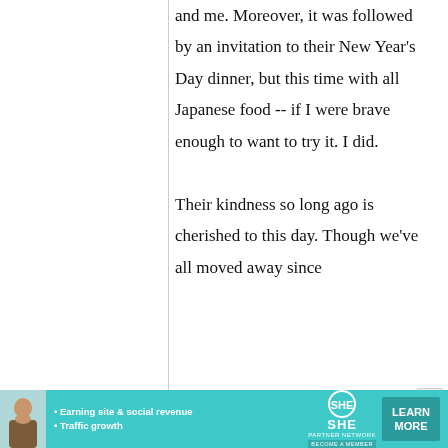and me. Moreover, it was followed by an invitation to their New Year's Day dinner, but this time with all Japanese food -- if I were brave enough to want to try it. I did.

Their kindness so long ago is cherished to this day. Though we've all moved away since
[Figure (infographic): Advertisement banner for SHE Partner Network. Teal/cyan background with a woman's photo on the left, bullet points 'Earning site & social revenue' and 'Traffic growth', SHE Partner Network logo in the center, and a 'LEARN MORE' button on the right. Tagline 'BECOME A MEMBER' shown below logo.]